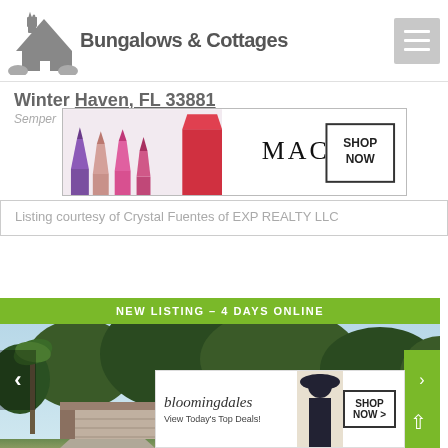[Figure (logo): Bungalows & Cottages website logo with house icon and text]
Winter Haven, FL 33881
Semper
[Figure (screenshot): MAC cosmetics advertisement banner with lipsticks, MAC logo, and SHOP NOW button]
Listing courtesy of Crystal Fuentes of EXP REALTY LLC
NEW LISTING - 4 DAYS ONLINE
[Figure (photo): Exterior photo of a single-story Florida ranch house with trees in background]
[Figure (screenshot): Bloomingdales advertisement banner with logo, model, and SHOP NOW button. Text: bloomingdales, View Today's Top Deals!, SHOP NOW >]